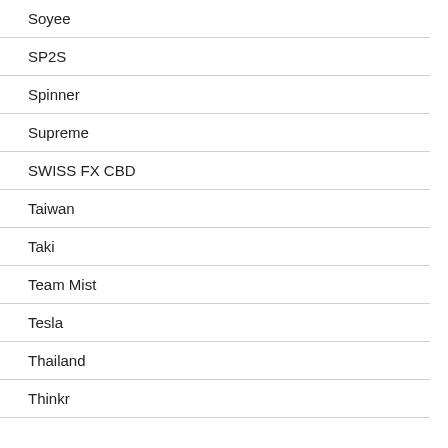Soyee
SP2S
Spinner
Supreme
SWISS FX CBD
Taiwan
Taki
Team Mist
Tesla
Thailand
Thinkr